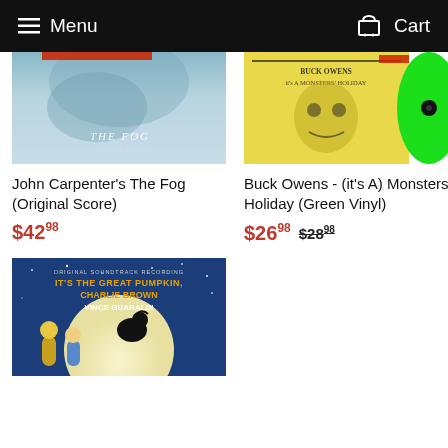Menu   Cart
[Figure (photo): Album cover for John Carpenter's The Fog (Original Score) - light blue foggy atmospheric cover]
[Figure (photo): Album cover for Buck Owens - (it's A) Monsters' Holiday - yellow cover with black illustration and green vinyl record visible]
John Carpenter's The Fog (Original Score)
$42.98
Buck Owens - (it's A) Monsters' Holiday (Green Vinyl)
$26.98  $28.98
[Figure (photo): Album cover for It's The Great Pumpkin, Charlie Brown - Vince Guaraldi, Original Soundtrack Recording. Blue night sky with large moon and Peanuts character silhouettes]